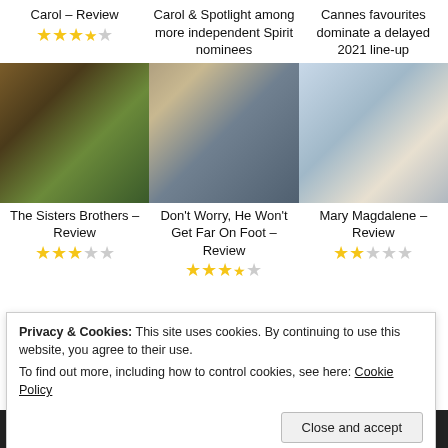Carol – Review
[Figure (other): Star rating: 3.5 out of 5 gold stars]
Carol & Spotlight among more independent Spirit nominees
Cannes favourites dominate a delayed 2021 line-up
[Figure (photo): Movie still: two men in western/period costumes outdoors]
[Figure (photo): Movie still: man in wheelchair on a porch]
[Figure (photo): Movie still: woman in white headscarf/veil]
The Sisters Brothers – Review
[Figure (other): Star rating: 3 out of 5 gold stars]
Don't Worry, He Won't Get Far On Foot – Review
[Figure (other): Star rating: 3.5 out of 5 gold stars]
Mary Magdalene – Review
[Figure (other): Star rating: 2.5 out of 5 gold stars]
Privacy & Cookies: This site uses cookies. By continuing to use this website, you agree to their use.
To find out more, including how to control cookies, see here: Cookie Policy
Close and accept